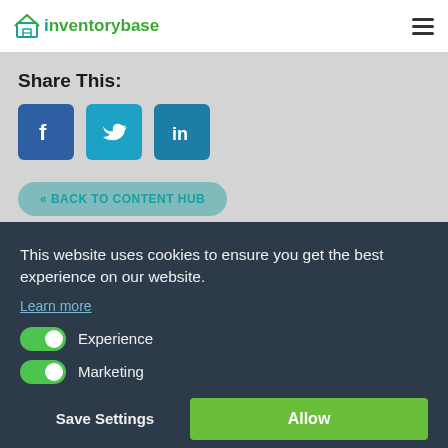[Figure (logo): InventoryBase logo with house icon on left and hamburger menu icon on right]
Share This:
[Figure (infographic): Three social media share buttons: Facebook (blue square with f icon), Twitter (teal square with bird icon), LinkedIn (teal square with 'in' icon)]
« BACK TO CONTENT HUB
This website uses cookies to ensure you get the best experience on our website.
Learn more
Experience
Marketing
Save Settings
Allow